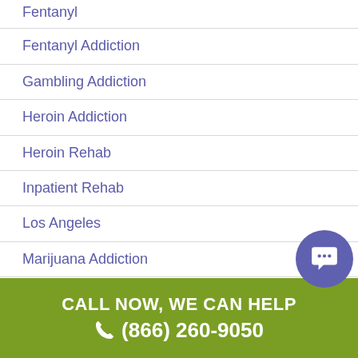Fentanyl
Fentanyl Addiction
Gambling Addiction
Heroin Addiction
Heroin Rehab
Inpatient Rehab
Los Angeles
Marijuana Addiction
Marijua…
Medica…
Mental Health
[Figure (screenshot): Chat popup with text: Hi there, have a question? Text us here. With close button and chat bubble icon.]
CALL NOW, WE CAN HELP
(866) 260-9050